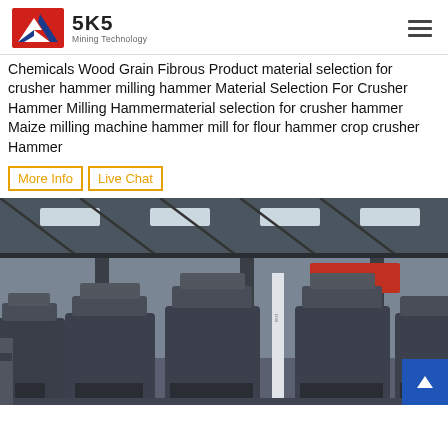SKS Mining Technology
Chemicals Wood Grain Fibrous Product material selection for crusher hammer milling hammer Material Selection For Crusher Hammer Milling Hammermaterial selection for crusher hammer Maize milling machine hammer mill for flour hammer crop crusher Hammer
More Info
Live Chat
[Figure (photo): Industrial manufacturing facility interior showing multiple large vertical mill machines (likely Raymond mills or similar grinding mills) arranged in a row on a factory floor, with steel structure roof and columns visible above]